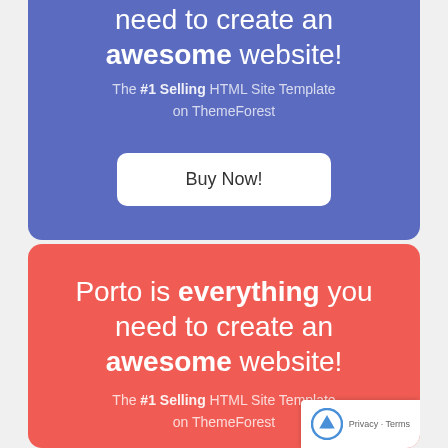[Figure (screenshot): Blue card with text 'need to create an awesome website! The #1 Selling HTML Site Template on ThemeForest' and a 'Buy Now!' button]
[Figure (screenshot): Red card with text 'Porto is everything you need to create an awesome website! The #1 Selling HTML Site Template on ThemeForest' with a reCAPTCHA badge]